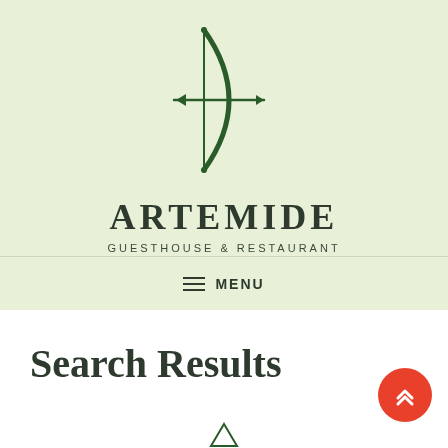[Figure (logo): Artemide Guesthouse & Restaurant logo: a bow and arrow illustration in dark green, with the brand name ARTEMIDE in large serif bold letters and subtitle GUESTHOUSE & RESTAURANT in small caps below]
≡ MENU
Search Results